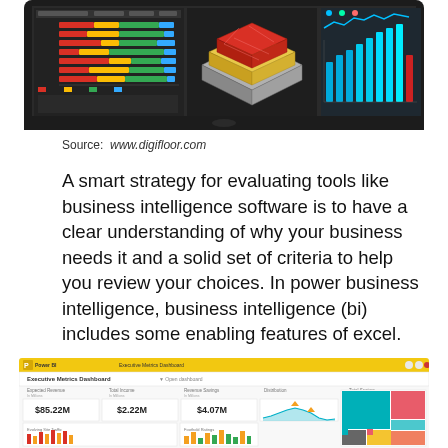[Figure (screenshot): Screenshot of a dark-themed business intelligence dashboard showing stacked bar charts, a 3D layered floor plan diagram, and a bar chart with teal/blue bars on a dark background.]
Source: www.digifloor.com
A smart strategy for evaluating tools like business intelligence software is to have a clear understanding of why your business needs it and a solid set of criteria to help you review your choices. In power business intelligence, business intelligence (bi) includes some enabling features of excel.
[Figure (screenshot): Screenshot of Power BI Executive Metrics Dashboard showing KPI tiles ($85.22M, $2.22M, $4.07M), an area chart, a treemap with teal/pink/yellow sections, and bar charts at the bottom.]